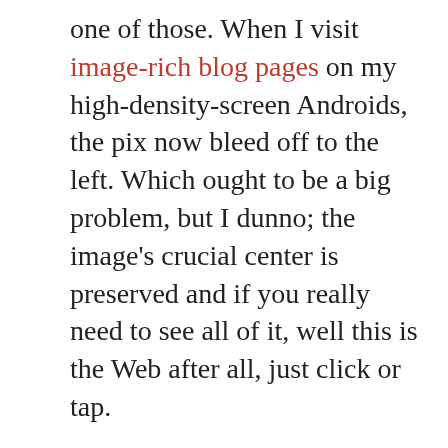one of those. When I visit image-rich blog pages on my high-density-screen Androids, the pix now bleed off to the left. Which ought to be a big problem, but I dunno; the image's crucial center is preserved and if you really need to see all of it, well this is the Web after all, just click or tap.
I still think the right answer is probably one of those frameworks that